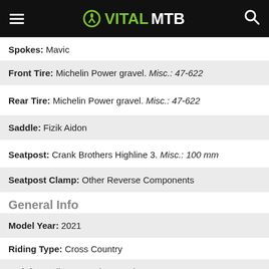VITALMTB
Spokes: Mavic
Front Tire: Michelin Power gravel. Misc.: 47-622
Rear Tire: Michelin Power gravel. Misc.: 47-622
Saddle: Fizik Aidon
Seatpost: Crank Brothers Highline 3. Misc.: 100 mm
Seatpost Clamp: Other Reverse Components
General Info
Model Year: 2021
Riding Type: Cross Country
Weight: 26 lb 14.3 oz (12200 g)
Antuch